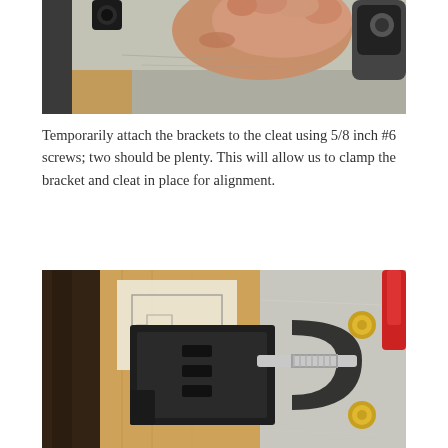[Figure (photo): Close-up photo of a hand pressing or adjusting a black bracket/roller mechanism on a metal surface, with a drill or tool visible at the right edge.]
Temporarily attach the brackets to the cleat using 5/8 inch #6 screws; two should be plenty. This will allow us to clamp the bracket and cleat in place for alignment.
[Figure (photo): Close-up photo of a black metal bracket clamped against a wooden cleat on a metal surface, with a C-clamp with a gold screw visible on the right side.]